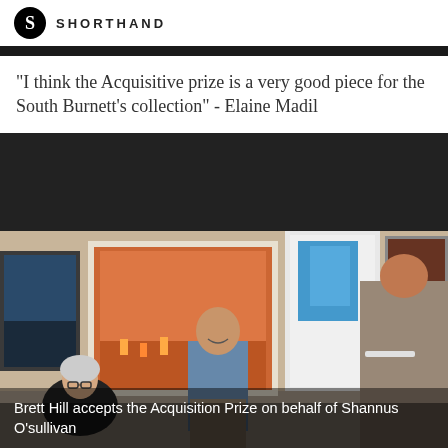SHORTHAND
"I think the Acquisitive prize is a very good piece for the South Burnett's collection" - Elaine Madil
[Figure (photo): Gallery scene showing a seated older woman with white hair and glasses laughing/talking, a man in a blue shirt standing and smiling, and another person on the right holding papers. Paintings hang on the walls including a large orange/red artwork and other framed pieces.]
Brett Hill accepts the Acquisition Prize on behalf of Shannus O'sullivan